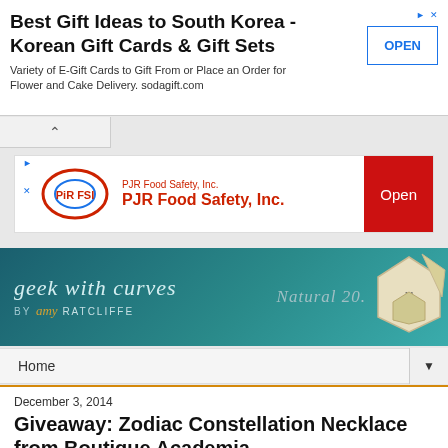[Figure (screenshot): Top advertisement banner: Best Gift Ideas to South Korea - Korean Gift Cards & Gift Sets, with OPEN button]
[Figure (screenshot): PJR Food Safety, Inc. advertisement with logo and Open button]
[Figure (screenshot): Geek With Curves by Amy Ratcliffe blog banner with Natural 20 dice logo]
Home
December 3, 2014
Giveaway: Zodiac Constellation Necklace from Boutique Academia